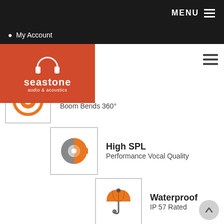MENU
My Account
[Figure (logo): Seastone audio & acoustics logo with headphones icon on red background]
Flex
Boom Bends 360°
[Figure (illustration): Half grey half orange circle icon representing High SPL]
High SPL
Performance Vocal Quality
[Figure (illustration): Orange umbrella icon representing Waterproof]
Waterproof
IP 57 Rated